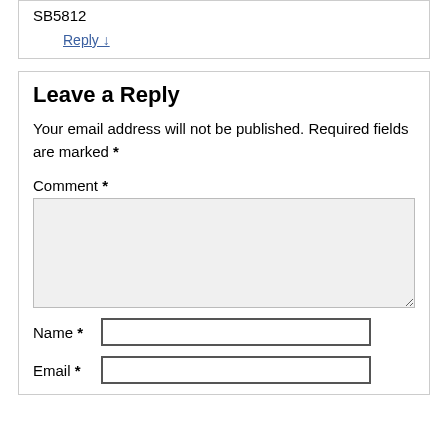SB5812
Reply ↓
Leave a Reply
Your email address will not be published. Required fields are marked *
Comment *
Name *
Email *